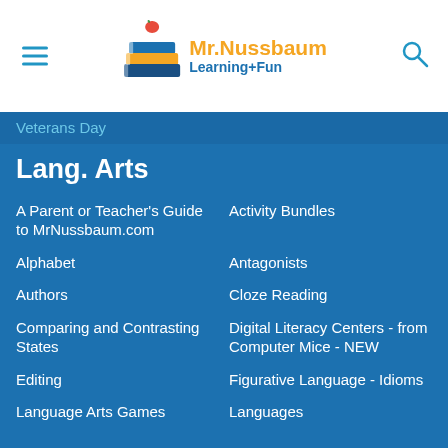[Figure (logo): Mr. Nussbaum Learning+Fun logo with stacked books icon and apple]
Veterans Day
Lang. Arts
A Parent or Teacher's Guide to MrNussbaum.com
Activity Bundles
Alphabet
Antagonists
Authors
Cloze Reading
Comparing and Contrasting States
Digital Literacy Centers - from Computer Mice - NEW
Editing
Figurative Language - Idioms
Language Arts Games
Languages